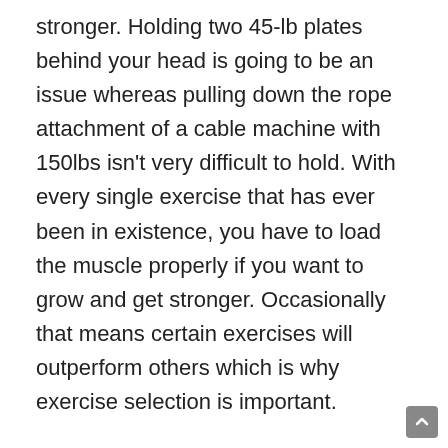stronger.  Holding two 45-lb plates behind your head is going to be an issue whereas pulling down the rope attachment of a cable machine with 150lbs isn't very difficult to hold. With every single exercise that has ever been in existence, you have to load the muscle properly if you want to grow and get stronger. Occasionally that means certain exercises will outperform others which is why exercise selection is important.
Go on instagram right now and find your favorite fitspo.  Search on their page until you find a “Killer Abs!” workout.  It won't take long, I promise. They